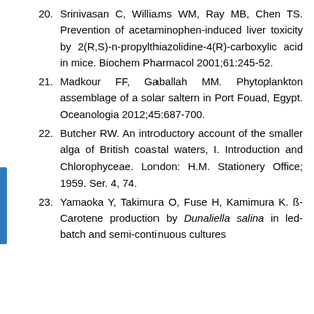20. Srinivasan C, Williams WM, Ray MB, Chen TS. Prevention of acetaminophen-induced liver toxicity by 2(R,S)-n-propylthiazolidine-4(R)-carboxylic acid in mice. Biochem Pharmacol 2001;61:245-52.
21. Madkour FF, Gaballah MM. Phytoplankton assemblage of a solar saltern in Port Fouad, Egypt. Oceanologia 2012;45:687-700.
22. Butcher RW. An introductory account of the smaller alga of British coastal waters, I. Introduction and Chlorophyceae. London: H.M. Stationery Office; 1959. Ser. 4, 74.
23. Yamaoka Y, Takimura O, Fuse H, Kamimura K. ß-Carotene production by Dunaliella salina in led-batch and semi-continuous cultures